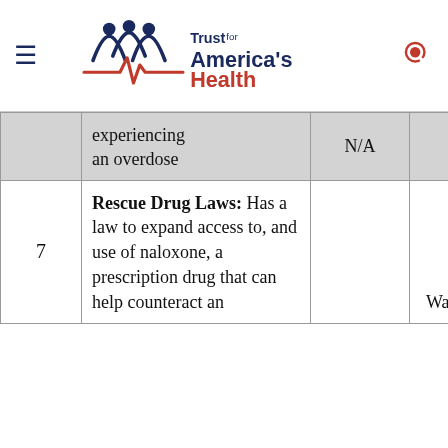Trust for America's Health
| # | Description | N/A | States/D.C. |
| --- | --- | --- | --- |
|  | experiencing an overdose | N/A | D.C. |
| 7 | Rescue Drug Laws: Has a law to expand access to, and use of naloxone, a prescription drug that can help counteract an |  | 17 and Washington, |